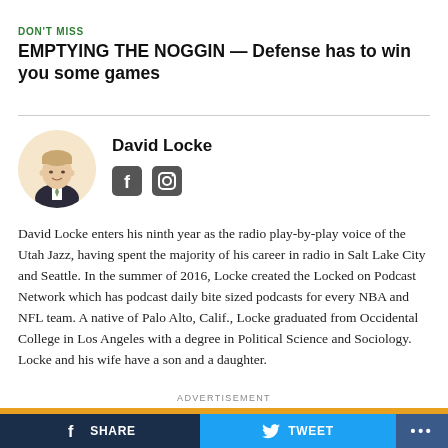DON'T MISS
EMPTYING THE NOGGIN — Defense has to win you some games
David Locke
[Figure (photo): Circular headshot photo of David Locke in a suit with social media icons (Facebook and Instagram) below]
David Locke enters his ninth year as the radio play-by-play voice of the Utah Jazz, having spent the majority of his career in radio in Salt Lake City and Seattle. In the summer of 2016, Locke created the Locked on Podcast Network which has podcast daily bite sized podcasts for every NBA and NFL team. A native of Palo Alto, Calif., Locke graduated from Occidental College in Los Angeles with a degree in Political Science and Sociology. Locke and his wife have a son and a daughter.
ADVERTISEMENT
SHARE   TWEET   ...